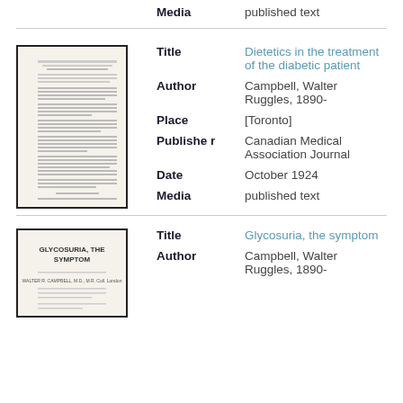Media: published text
[Figure (photo): Thumbnail image of a document page for 'Dietetics in the treatment of the diabetic patient']
Title: Dietetics in the treatment of the diabetic patient
Author: Campbell, Walter Ruggles, 1890-
Place: [Toronto]
Publisher: Canadian Medical Association Journal
Date: October 1924
Media: published text
[Figure (photo): Thumbnail image of a document page for 'Glycosuria, the symptom']
Title: Glycosuria, the symptom
Author: Campbell, Walter Ruggles, 1890-